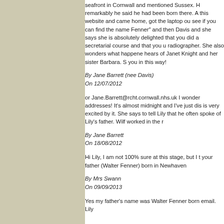seafront in Cornwall and mentioned Sussex. H remarkably he said he had been born there. A this website and came home, got the laptop ou see if you can find the name Fenner" and then Davis and she says she is absolutely delighted that you did a secretarial course and that you u radiographer. She also wonders what happene hears of Janet Knight and her sister Barbara. S you in this way!
By Jane Barrett (nee Davis)
On 12/07/2012
or Jane.Barrett@rcht.cornwall.nhs.uk I wonder addresses! It's almost midnight and I've just dis is very excited by it. She says to tell Lily that he often spoke of Lily's father. Wilf worked in the r
By Jane Barrett
On 18/08/2012
Hi Lily, I am not 100% sure at this stage, but I t your father (Walter Fenner) born in Newhaven
By Mrs Swann
On 09/09/2013
Yes my father's name was Walter Fenner born email.  Lily